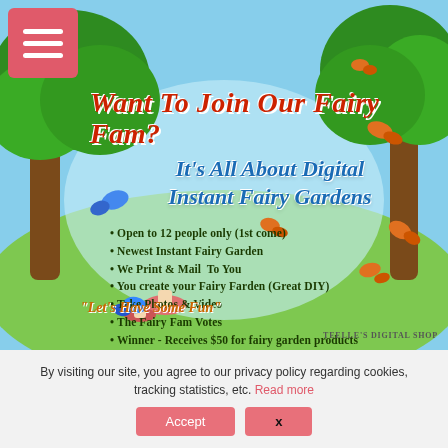[Figure (illustration): Fairy garden promotional banner with trees, butterflies, sky background, menu icon, main title, subtitle, bullet list, tagline, and shop logo.]
Open to 12 people only (1st come)
Newest Instant Fairy Garden
We Print & Mail  To You
You create your Fairy Farden (Great DIY)
Take Photos & Video
The Fairy Fam Votes
Winner - Receives $50 for fairy garden products
Be featured on our website & social media
By visiting our site, you agree to our privacy policy regarding cookies, tracking statistics, etc. Read more
Accept   x